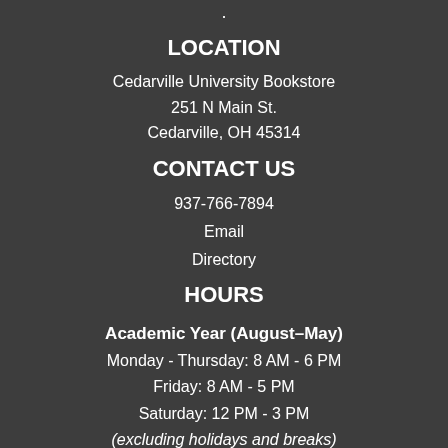·
LOCATION
Cedarville University Bookstore
251 N Main St.
Cedarville, OH 45314
CONTACT US
937-766-7894
Email
Directory
HOURS
Academic Year (August–May)
Monday - Thursday: 8 AM - 6 PM
Friday: 8 AM - 5 PM
Saturday: 12 PM - 3 PM
(excluding holidays and breaks)
Summer (May–August)